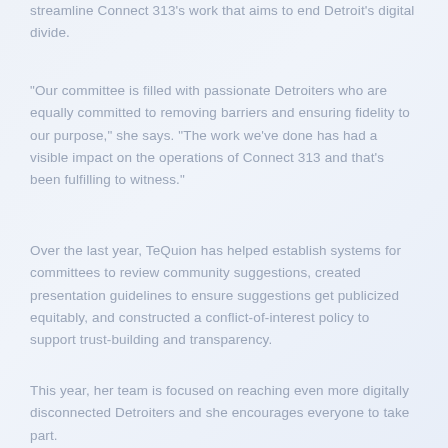streamline Connect 313's work that aims to end Detroit's digital divide.
"Our committee is filled with passionate Detroiters who are equally committed to removing barriers and ensuring fidelity to our purpose," she says. "The work we've done has had a visible impact on the operations of Connect 313 and that's been fulfilling to witness."
Over the last year, TeQuion has helped establish systems for committees to review community suggestions, created presentation guidelines to ensure suggestions get publicized equitably, and constructed a conflict-of-interest policy to support trust-building and transparency.
This year, her team is focused on reaching even more digitally disconnected Detroiters and she encourages everyone to take part.